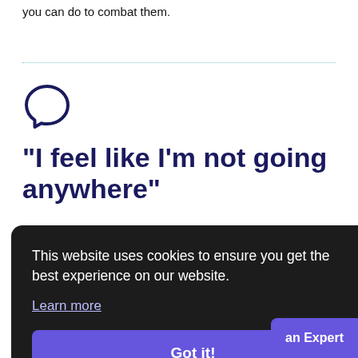you can do to combat them.
[Figure (illustration): Dark navy speech bubble / chat icon]
“I feel like I’m not going anywhere”
This website uses cookies to ensure you get the best experience on our website. Learn more
Got it!
er can be move to look nt drive whether
Ask an Expert
take on more responsibilities. Upskilling employees in